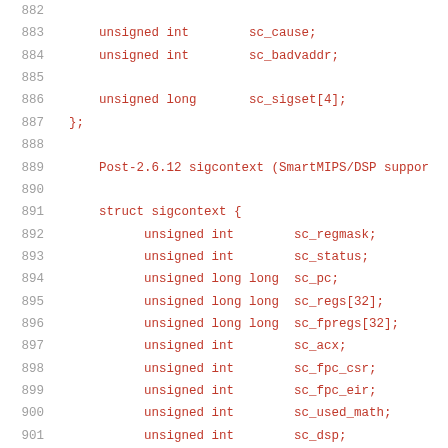882  (blank)
883      unsigned int        sc_cause;
884      unsigned int        sc_badvaddr;
885  (blank)
886      unsigned long       sc_sigset[4];
887  };
888  (blank)
889      Post-2.6.12 sigcontext (SmartMIPS/DSP suppor
890  (blank)
891      struct sigcontext {
892          unsigned int        sc_regmask;
893          unsigned int        sc_status;
894          unsigned long long  sc_pc;
895          unsigned long long  sc_regs[32];
896          unsigned long long  sc_fpregs[32];
897          unsigned int        sc_acx;
898          unsigned int        sc_fpc_csr;
899          unsigned int        sc_fpc_eir;
900          unsigned int        sc_used_math;
901          unsigned int        sc_dsp;
902          [Alignment hole of four bytes]
903          unsigned long long  sc_mdhi;